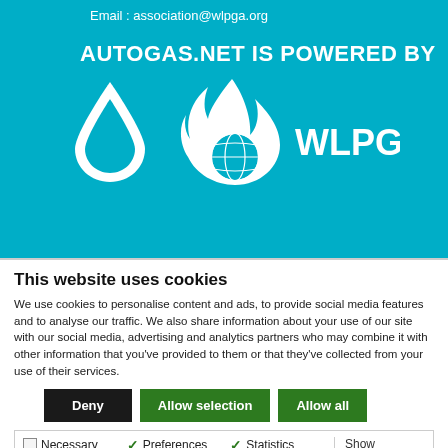Email : association@wlpga.org
AUTOGAS.NET IS POWERED BY
[Figure (logo): LPG Exceptional Energy logo (white droplet icon with text LPG EXCEPTIONAL ENERGY) and WLPGA logo (white flame with globe icon and text WLPGA) on teal background]
This website uses cookies
We use cookies to personalise content and ads, to provide social media features and to analyse our traffic. We also share information about your use of our site with our social media, advertising and analytics partners who may combine it with other information that you've provided to them or that they've collected from your use of their services.
Deny | Allow selection | Allow all
Necessary | Preferences | Statistics | Marketing | Show details